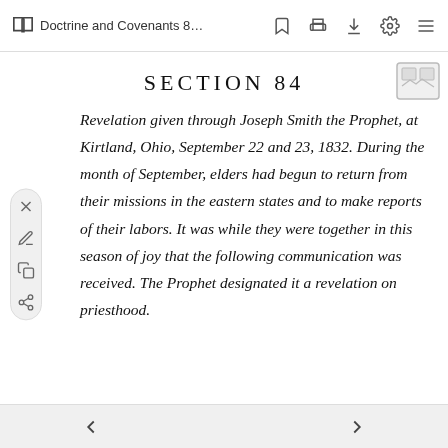Doctrine and Covenants 84
SECTION 84
Revelation given through Joseph Smith the Prophet, at Kirtland, Ohio, September 22 and 23, 1832. During the month of September, elders had begun to return from their missions in the eastern states and to make reports of their labors. It was while they were together in this season of joy that the following communication was received. The Prophet designated it a revelation on priesthood.